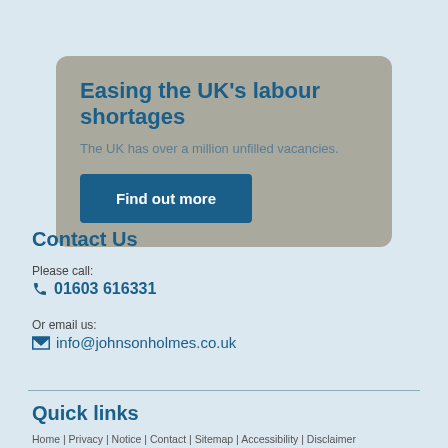Easing the UK's labour shortages
The UK has over a million unfilled vacancies.
Find out more
Contact Us
Please call:
01603 616331
Or email us:
info@johnsonholmes.co.uk
Quick links
Home | Privacy | Notice | Contact | Sitemap | Accessibility | Disclaimer